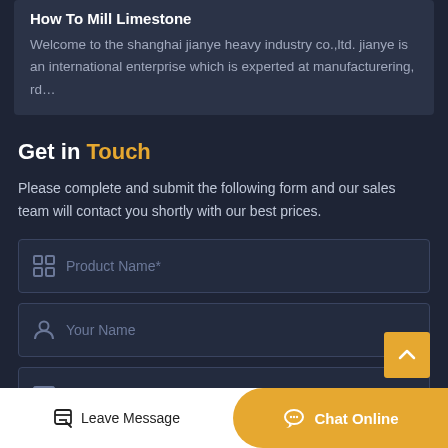How To Mill Limestone
Welcome to the shanghai jianye heavy industry co.,ltd. jianye is an international enterprise which is experted at manufacturering, rd…
Get in Touch
Please complete and submit the following form and our sales team will contact you shortly with our best prices.
Product Name*
Your Name
Email*
Leave Message
Chat Online